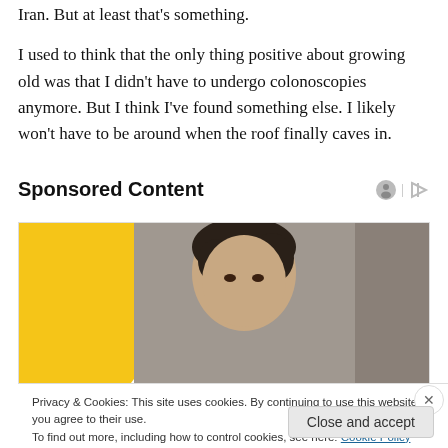Iran. But at least that's something.
I used to think that the only thing positive about growing old was that I didn't have to undergo colonoscopies anymore. But I think I've found something else. I likely won't have to be around when the roof finally caves in.
Sponsored Content
[Figure (photo): Sponsored content advertisement showing a person's face against a yellow and gray background]
Privacy & Cookies: This site uses cookies. By continuing to use this website, you agree to their use.
To find out more, including how to control cookies, see here: Cookie Policy